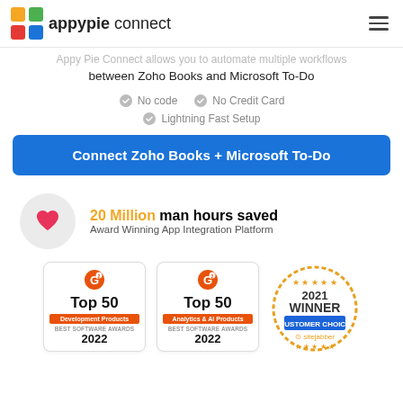appypie connect
Appy Pie Connect allows you to automate multiple workflows between Zoho Books and Microsoft To-Do
No code
No Credit Card
Lightning Fast Setup
Connect Zoho Books + Microsoft To-Do
20 Million man hours saved
Award Winning App Integration Platform
[Figure (logo): G2 Top 50 Development Products Best Software Awards 2022]
[Figure (logo): G2 Top 50 Analytics & AI Products Best Software Awards 2022]
[Figure (logo): 2021 Winner Customer Choice Sitejabber]